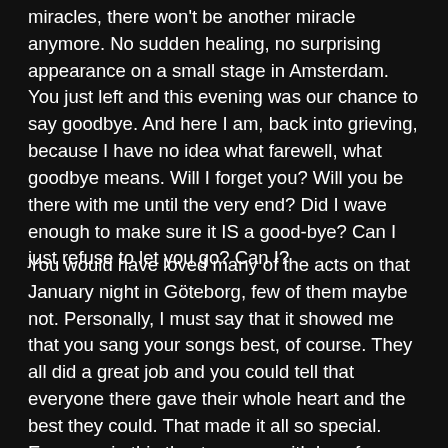miracles, there won't be another miracle anymore. No sudden healing, no surprising appearance on a small stage in Amsterdam. You just left and this evening was our chance to say goodbye. And here I am, back into grieving, because I have no idea what farewell, what goodbye means. Will I forget you? Will you be there with me until the very end? Did I wave enough to make sure it IS a good-bye? Can I just refuse to let you go? Can I?
You would have loved many of the acts on that January night in Göteborg, few of them maybe not. Personally, I must say that it showed me that you sang your songs best, of course. They all did a great job and you could tell that everyone there gave their whole heart and the best they could. That made it all so special. Everyone in this theater came with love for you and your music. And that turned it into a magic evening. I am so grateful I could be there, grateful to be a part of this, still. Grateful that I